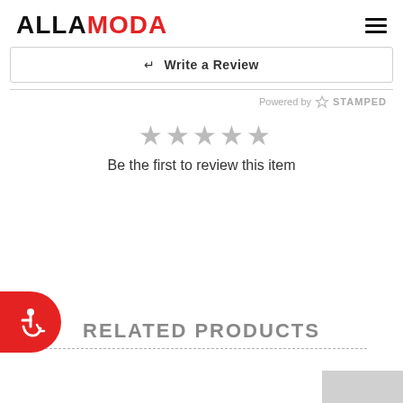ALLAMODA
Write a Review
Powered by STAMPED
[Figure (other): Five empty/grey stars rating display]
Be the first to review this item
RELATED PRODUCTS
[Figure (illustration): Accessibility icon button (wheelchair symbol) in red rounded rectangle, bottom left corner]